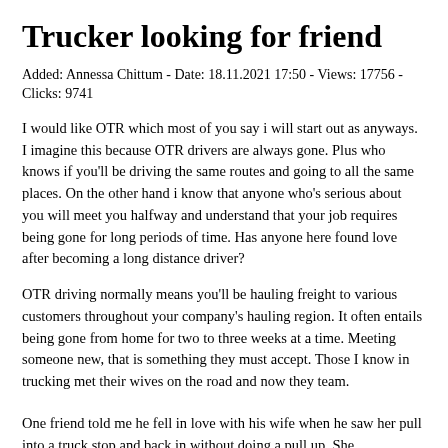Trucker looking for friend
Added: Annessa Chittum - Date: 18.11.2021 17:50 - Views: 17756 - Clicks: 9741
I would like OTR which most of you say i will start out as anyways. I imagine this because OTR drivers are always gone. Plus who knows if you'll be driving the same routes and going to all the same places. On the other hand i know that anyone who's serious about you will meet you halfway and understand that your job requires being gone for long periods of time. Has anyone here found love after becoming a long distance driver?
OTR driving normally means you'll be hauling freight to various customers throughout your company's hauling region. It often entails being gone from home for two to three weeks at a time. Meeting someone new, that is something they must accept. Those I know in trucking met their wives on the road and now they team.
One friend told me he fell in love with his wife when he saw her pull into a truck stop and back in without doing a pull up. She